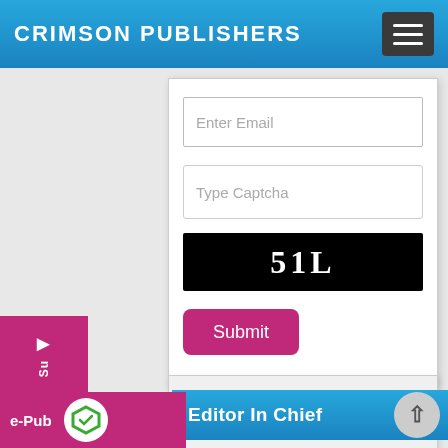CRIMSON PUBLISHERS
[Figure (screenshot): Web form with Enter Email input, Type Captcha input, CAPTCHA image showing '51L', and a Submit button]
[Figure (screenshot): Left sidebar with e-Pub and PDF download buttons and a Submit arrow button]
[Figure (screenshot): Editor In Chief banner in blue with arrow shape]
[Figure (photo): Partial view of Editor In Chief section with a person's photo]